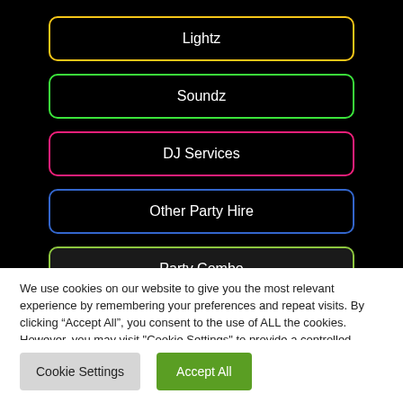Lightz
Soundz
DJ Services
Other Party Hire
Party Combo
We use cookies on our website to give you the most relevant experience by remembering your preferences and repeat visits. By clicking “Accept All”, you consent to the use of ALL the cookies. However, you may visit "Cookie Settings" to provide a controlled consent.
Cookie Settings
Accept All